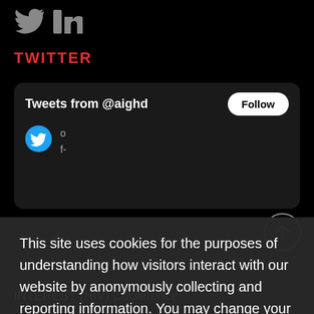[Figure (logo): Twitter and LinkedIn social media icons in grey/white on black background]
TWITTER
[Figure (screenshot): Twitter widget showing 'Tweets from @aighd' with a Follow button and partial tweet content with Twitter bird icon]
This site uses cookies for the purposes of understanding how visitors interact with our website by anonymously collecting and reporting information. You may change your cookie preferences on your browser. By clicking 'I Agree', you consent to our cookie policy.
I agree
INTEREST (HIV) Conference